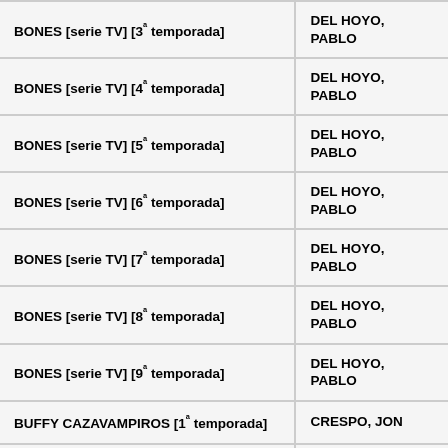| Title | Author |
| --- | --- |
| BONES [serie TV] [3ª temporada] | DEL HOYO, PABLO |
| BONES [serie TV] [4ª temporada] | DEL HOYO, PABLO |
| BONES [serie TV] [5ª temporada] | DEL HOYO, PABLO |
| BONES [serie TV] [6ª temporada] | DEL HOYO, PABLO |
| BONES [serie TV] [7ª temporada] | DEL HOYO, PABLO |
| BONES [serie TV] [8ª temporada] | DEL HOYO, PABLO |
| BONES [serie TV] [9ª temporada] | DEL HOYO, PABLO |
| BUFFY CAZAVAMPIROS [1ª temporada] | CRESPO, JON |
| BUFFY CAZAVAMPIROS [2ª temporada] | CRESPO, JON |
| BUFFY CAZAVAMPIROS [3ª temporada] | CRESPO, JON |
| BUFFY CAZAVAMPIROS [4ª temporada] | DEL HOYO, PABLO |
| BUFFY CAZAVAMPIROS [5ª temporada] | DEL HOYO, PABLO |